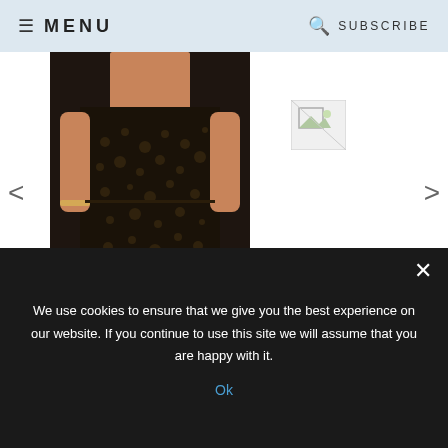MENU | SUBSCRIBE
[Figure (photo): Photo of a woman wearing a dark patterned fitted dress, shown from torso down]
[Figure (photo): Broken/missing image placeholder thumbnail]
19 COMMENTS | leave a comment ▾
SHARE THIS POST
MORE POSTS YOU'LL LOVE
We use cookies to ensure that we give you the best experience on our website. If you continue to use this site we will assume that you are happy with it.
Ok